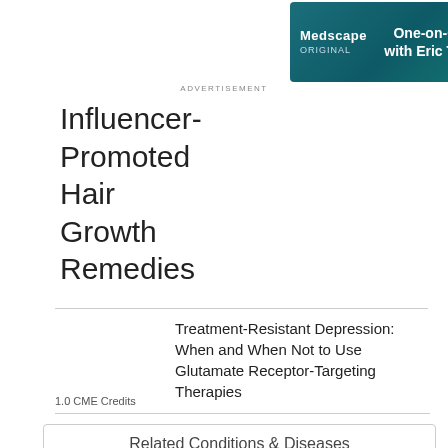[Figure (screenshot): Medscape ORIGINAL advertisement banner: 'One-on-One with Eric Topol – Listen Now']
ADVERTISEMENT
Influencer-Promoted Hair Growth Remedies
Treatment-Resistant Depression: When and When Not to Use Glutamate Receptor-Targeting Therapies
1.0 CME Credits
Related Conditions & Diseases
Fast Five Quiz: Do You Know the Latest Postoperative Pain Management Guidelines?